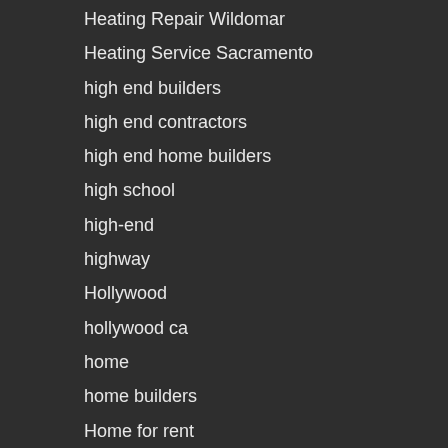Heating Repair Wildomar
Heating Service Sacramento
high end builders
high end contractors
high end home builders
high school
high-end
highway
Hollywood
hollywood ca
home
home builders
Home for rent
Home for Sale in Vista
home for sale vista
home improvement financing
home remodeling